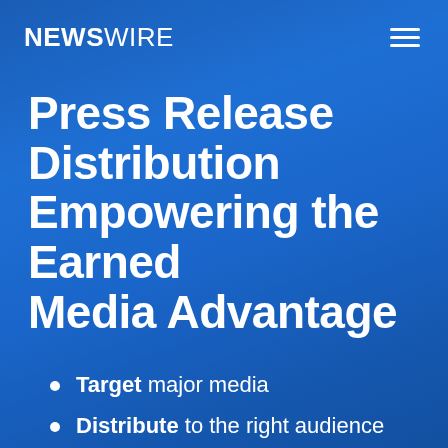NEWSWIRE
Press Release Distribution Empowering the Earned Media Advantage
Target major media
Distribute to the right audience
Deliver on time